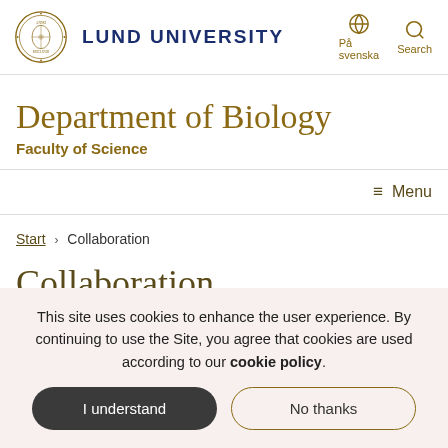Lund University
Department of Biology
Faculty of Science
≡ Menu
Start › Collaboration
Collaboration
This site uses cookies to enhance the user experience. By continuing to use the Site, you agree that cookies are used according to our cookie policy.
I understand
No thanks